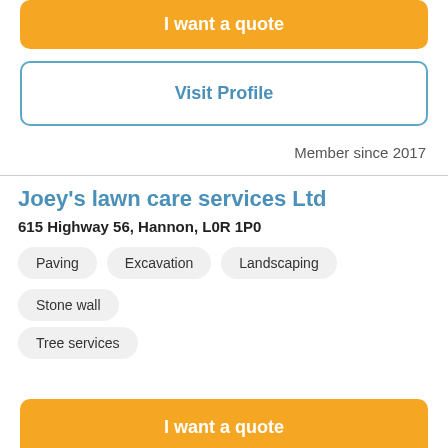I want a quote
Visit Profile
Member since 2017
Joey's lawn care services Ltd
615 Highway 56, Hannon, L0R 1P0
Paving
Excavation
Landscaping
Stone wall
Tree services
I want a quote